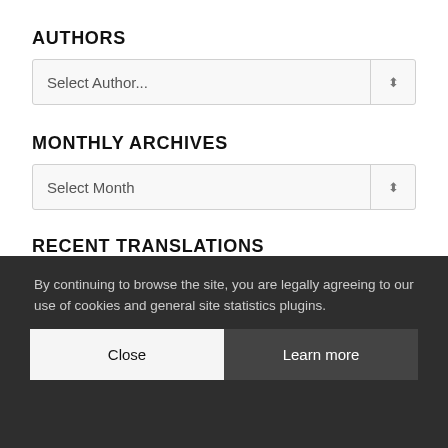AUTHORS
[Figure (screenshot): Dropdown selector with placeholder text 'Select Author...' and arrow button on the right]
MONTHLY ARCHIVES
[Figure (screenshot): Dropdown selector with placeholder text 'Select Month' and arrow button on the right]
RECENT TRANSLATIONS
All | Czech | Finnish | French | German | Greek | Italian | Polish | Portuguese | Russian | Spanish | Swedish
By continuing to browse the site, you are legally agreeing to our use of cookies and general site statistics plugins.
Close   Learn more
A2ZZ Publications
American Free...
American Mercury.